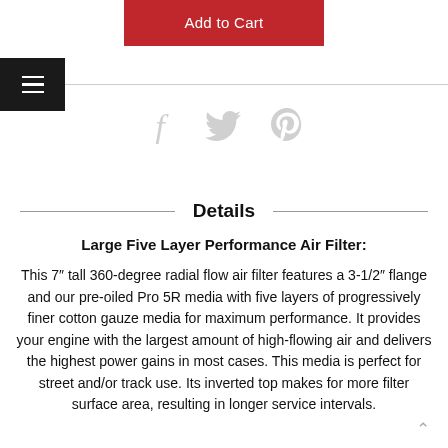[Figure (other): Red 'Add to Cart' button centered at top of page]
[Figure (other): Black hamburger menu icon box on left, horizontal separator line extending right, with social media icons (Facebook, Twitter, Pinterest) centered below]
Details
Large Five Layer Performance Air Filter: This 7″ tall 360-degree radial flow air filter features a 3-1/2″ flange and our pre-oiled Pro 5R media with five layers of progressively finer cotton gauze media for maximum performance. It provides your engine with the largest amount of high-flowing air and delivers the highest power gains in most cases. This media is perfect for street and/or track use. Its inverted top makes for more filter surface area, resulting in longer service intervals.